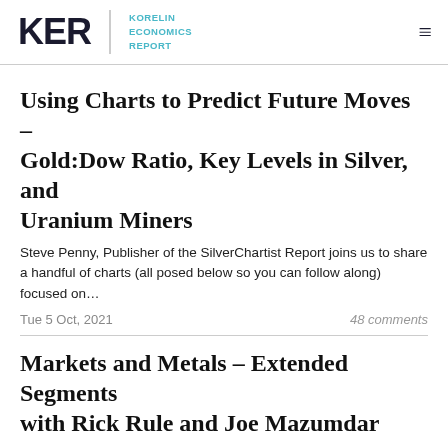KER KORELIN ECONOMICS REPORT
Using Charts to Predict Future Moves – Gold:Dow Ratio, Key Levels in Silver, and Uranium Miners
Steve Penny, Publisher of the SilverChartist Report joins us to share a handful of charts (all posed below so you can follow along) focused on…
Tue 5 Oct, 2021    48 comments
Markets and Metals – Extended Segments with Rick Rule and Joe Mazumdar
In this Weekend's Show we feature two extended segments with Rick Rule and Joe Mazumdar. That means we are focusing on